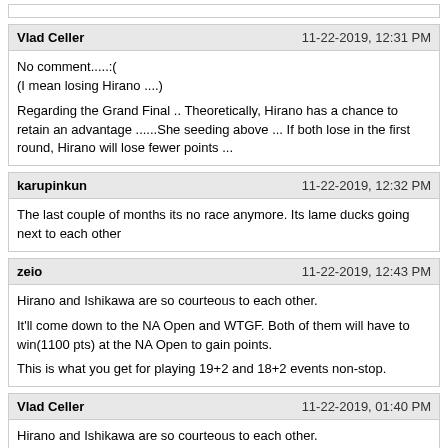(top bar partial)
Vlad Celler | 11-22-2019, 12:31 PM
No comment.....:(\n(I mean losing Hirano ....)

Regarding the Grand Final .. Theoretically, Hirano has a chance to retain an advantage ......She seeding above ... If both lose in the first round, Hirano will lose fewer points ...
karupinkun | 11-22-2019, 12:32 PM
The last couple of months its no race anymore. Its lame ducks going next to each other
zeio | 11-22-2019, 12:43 PM
Hirano and Ishikawa are so courteous to each other.

It'll come down to the NA Open and WTGF. Both of them will have to win(1100 pts) at the NA Open to gain points.

This is what you get for playing 19+2 and 18+2 events non-stop.
Vlad Celler | 11-22-2019, 01:40 PM
Hirano and Ishikawa are so courteous to each other.

It'll come down to the NA Open and WTGF. Both of them will have to win(1100 pts) at the NA Open to gain points.

This is what you get for playing 19+2 and 18+2 events non-stop.